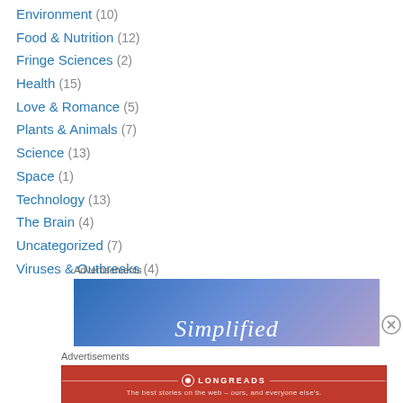Environment (10)
Food & Nutrition (12)
Fringe Sciences (2)
Health (15)
Love & Romance (5)
Plants & Animals (7)
Science (13)
Space (1)
Technology (13)
The Brain (4)
Uncategorized (7)
Viruses & Outbreaks (4)
Advertisements
[Figure (other): Advertisement banner with blue-purple gradient background showing text 'Simplified']
Advertisements
[Figure (other): Longreads advertisement banner on red background: 'The best stories on the web – ours, and everyone else's.']